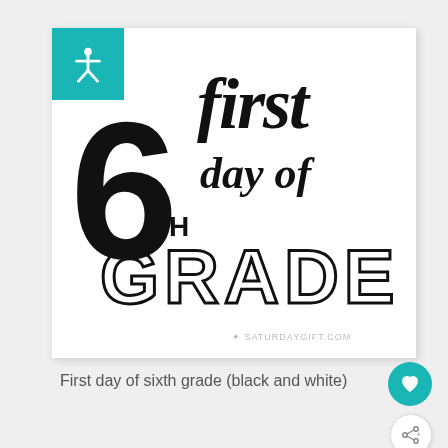[Figure (illustration): A school sign graphic in black and white showing '6th First day of GRADE' text with decorative hand-lettered fonts on a white background card. A teal square with a white accessibility icon is in the top-left corner of the card. Watermark reads 'SATURDAYGIFT.COM'.]
First day of sixth grade (black and white)